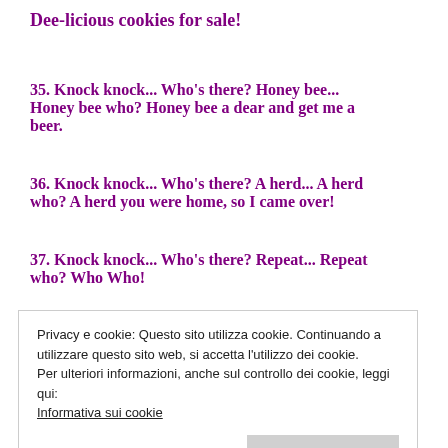Dee-licious cookies for sale!
35. Knock knock... Who's there? Honey bee... Honey bee who? Honey bee a dear and get me a beer.
36. Knock knock... Who's there? A herd... A herd who? A herd you were home, so I came over!
37. Knock knock... Who's there? Repeat... Repeat who? Who Who!
Privacy e cookie: Questo sito utilizza cookie. Continuando a utilizzare questo sito web, si accetta l’utilizzo dei cookie.
Per ulteriori informazioni, anche sul controllo dei cookie, leggi qui:
Informativa sui cookie
Chiudi e accetta
38. Knock knock... Who's there? Agatha... Agatha who? Agatha toothache. Do you have an athnirin?